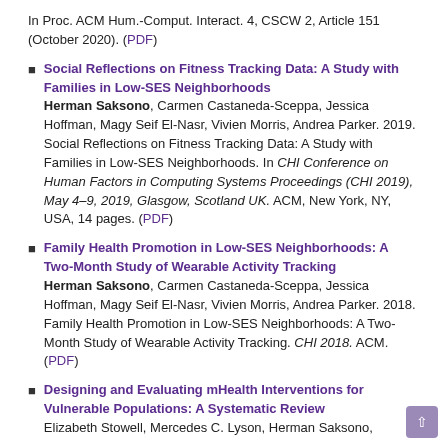In Proc. ACM Hum.-Comput. Interact. 4, CSCW 2, Article 151 (October 2020). (PDF)
Social Reflections on Fitness Tracking Data: A Study with Families in Low-SES Neighborhoods — Herman Saksono, Carmen Castaneda-Sceppa, Jessica Hoffman, Magy Seif El-Nasr, Vivien Morris, Andrea Parker. 2019. Social Reflections on Fitness Tracking Data: A Study with Families in Low-SES Neighborhoods. In CHI Conference on Human Factors in Computing Systems Proceedings (CHI 2019), May 4–9, 2019, Glasgow, Scotland UK. ACM, New York, NY, USA, 14 pages. (PDF)
Family Health Promotion in Low-SES Neighborhoods: A Two-Month Study of Wearable Activity Tracking — Herman Saksono, Carmen Castaneda-Sceppa, Jessica Hoffman, Magy Seif El-Nasr, Vivien Morris, Andrea Parker. 2018. Family Health Promotion in Low-SES Neighborhoods: A Two-Month Study of Wearable Activity Tracking. CHI 2018. ACM. (PDF)
Designing and Evaluating mHealth Interventions for Vulnerable Populations: A Systematic Review — Elizabeth Stowell, Mercedes C. Lyson, Herman Saksono, ...